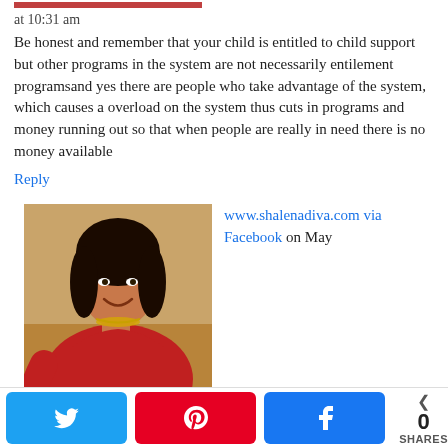at 10:31 am
Be honest and remember that your child is entitled to child support but other programs in the system are not necessarily entilement programsand yes there are people who take advantage of the system, which causes a overload on the system thus cuts in programs and money running out so that when people are really in need there is no money available
Reply
7.
[Figure (photo): Profile photo of a woman in a red outfit]
www.shalenadiva.com via Facebook on May 11, 2011 at 10:33 am
Now… some women take advantage of the system and take good men to court out of spite and try to get ridiculous amounts of money. I don't think the system should be abused. It boggles my mind how some women will leave the true deadbeats alone and never ask him for a penny or take him to court but then go after someone who wants to be...
0 SHARES